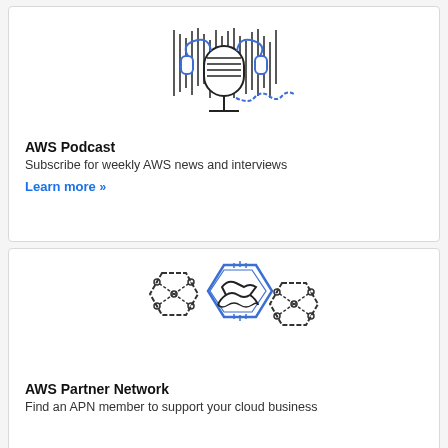[Figure (illustration): Illustration of a podcast microphone with headphones and a winding cord, drawn in dark and blue line art style]
AWS Podcast
Subscribe for weekly AWS news and interviews
Learn more »
[Figure (illustration): Illustration of three hexagonal badges: left and right show a network/cube icon, center (highlighted in blue) shows a handshake icon]
AWS Partner Network
Find an APN member to support your cloud business